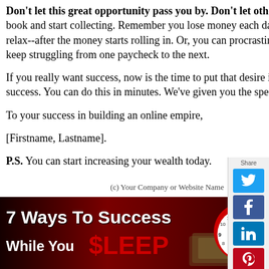Don't let this great opportunity pass you by. Don't let others take the money being spent on the web. Get your copy of our book and start collecting. Remember you lose money each day that you fail to act. Get started now, set up your online empire, then relax--after the money starts rolling in. Or, you can procrastinate and never get started, never begin receiving a perpetual income and keep struggling from one paycheck to the next.
If you really want success, now is the time to put that desire into action. Get info on how to move to the next step of financial success. You can do this in minutes. We've given you the specifics about what our book can do to help you.
To your success in building an online empire,
[Firstname, Lastname].
P.S. You can start increasing your wealth today.
(c) Your Company or Website Name
[Figure (infographic): 7 Ways To Success While You $LEEP banner with clock and money images on dark red background]